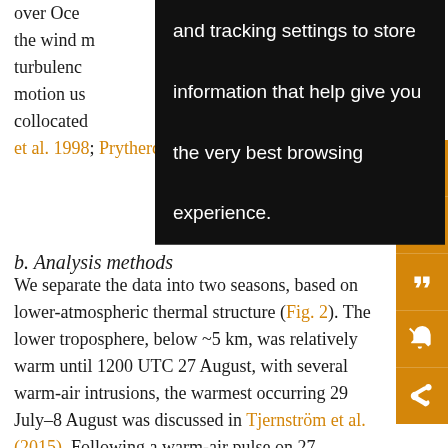over Oce... and tracking settings to store information that help give you the very best browsing experience. ...for the wind ... turbulence ...hip motion us... collocated... Eds et al. 1998; Prytherch et al. 2015).
b. Analysis methods
We separate the data into two seasons, based on lower-atmospheric thermal structure (Fig. 2). The lower troposphere, below ~5 km, was relatively warm until 1200 UTC 27 August, with several warm-air intrusions, the warmest occurring 29 July–8 August was discussed in Tjernström et al. (2015). Following a warm-air pulse on 27 August, the atmosphere abruptly became substantially cooler in a deep layer through the lowest kilometers (Fig. 2a). Prior to 1200 UTC 27 August, the temperature at the